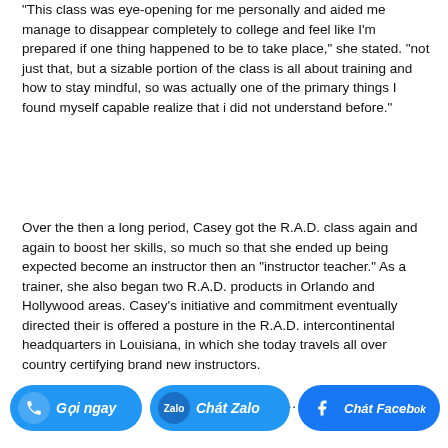“This class was eye-opening for me personally and aided me manage to disappear completely to college and feel like I’m prepared if one thing happened to be to take place,” she stated. “not just that, but a sizable portion of the class is all about training and how to stay mindful, so was actually one of the primary things I found myself capable realize that i did not understand before.”
Over the then a long period, Casey got the R.A.D. class again and again to boost her skills, so much so that she ended up being expected become an instructor then an “instructor teacher.” As a trainer, she also began two R.A.D. products in Orlando and Hollywood areas. Casey’s initiative and commitment eventually directed their is offered a posture in the R.A.D. intercontinental headquarters in Louisiana, in which she today travels all over country certifying brand new instructors.
“it … fe-ch … ram … on all over,” she sa…
[Figure (infographic): Three social media / contact buttons overlaid on the page: a phone 'Goi ngay' button, a Zalo 'Chat Zalo' button, and a Facebook 'Chat Facebook' button, all in blue. A grey scroll-up button is on the right.]